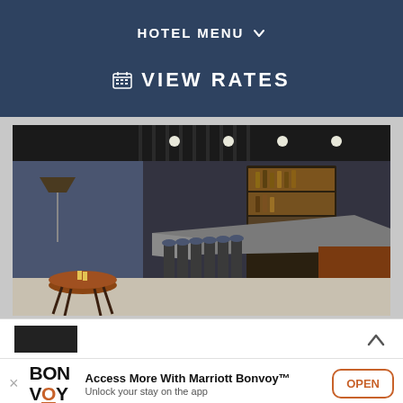HOTEL MENU
VIEW RATES
[Figure (photo): Interior photo of a hotel bar with a long granite-top bar counter, bar stools, backlit liquor shelves, dark ceiling with recessed lighting, and a round wooden side table in the foreground]
Access More With Marriott Bonvoy™ Unlock your stay on the app